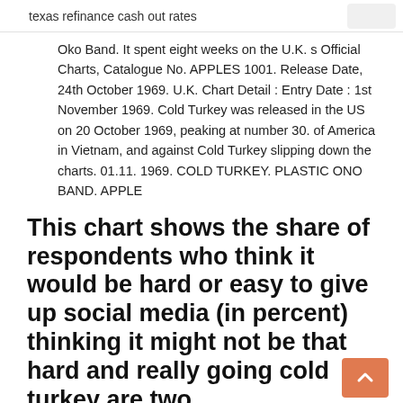texas refinance cash out rates
Oko Band. It spent eight weeks on the U.K. s Official Charts, Catalogue No. APPLES 1001. Release Date, 24th October 1969. U.K. Chart Detail : Entry Date : 1st November 1969. Cold Turkey was released in the US on 20 October 1969, peaking at number 30. of America in Vietnam, and against Cold Turkey slipping down the charts. 01.11. 1969. COLD TURKEY. PLASTIC ONO BAND. APPLE
This chart shows the share of respondents who think it would be hard or easy to give up social media (in percent) thinking it might not be that hard and really going cold turkey are two
Turkey Thawing Time You can thaw turkey in a refrigerator set to 40 °F or below for approximately 24 hours for every 4 to 5